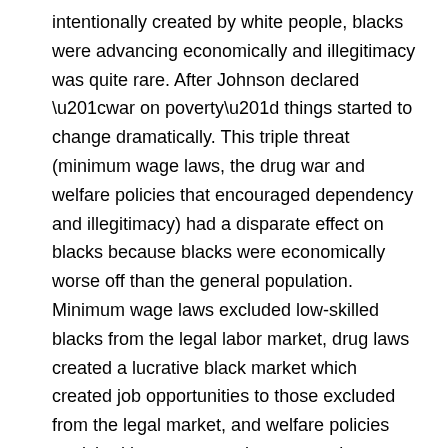intentionally created by white people, blacks were advancing economically and illegitimacy was quite rare. After Johnson declared “war on poverty” things started to change dramatically. This triple threat (minimum wage laws, the drug war and welfare policies that encouraged dependency and illegitimacy) had a disparate effect on blacks because blacks were economically worse off than the general population. Minimum wage laws excluded low-skilled blacks from the legal labor market, drug laws created a lucrative black market which created job opportunities to those excluded from the legal market, and welfare policies punished low wage employment and subsidized illegitimacy.
White people, originally for explicitly racist